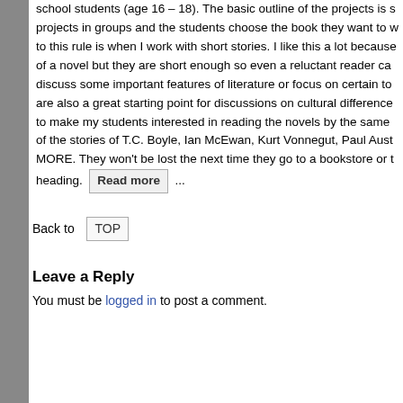school students (age 16 – 18). The basic outline of the projects is students work on projects in groups and the students choose the book they want to work on. An exception to this rule is when I work with short stories. I like this a lot because they have the depth of a novel but they are short enough so even a reluctant reader can enjoy them. They discuss some important features of literature or focus on certain topics and themes. They are also a great starting point for discussions on cultural differences. I also use them to make my students interested in reading the novels by the same author. READ MORE of the stories of T.C. Boyle, Ian McEwan, Kurt Vonnegut, Paul Aust MORE. They won't be lost the next time they go to a bookstore or the heading. Read more ...
Back to TOP
Leave a Reply
You must be logged in to post a comment.